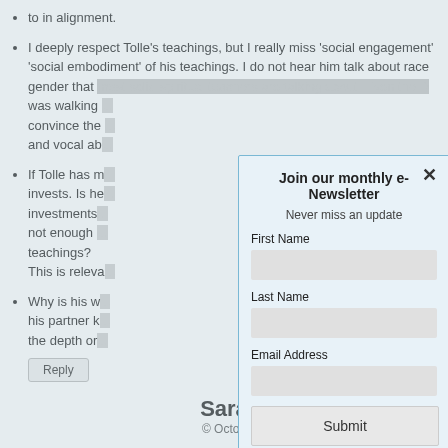to in alignment.
I deeply respect Tolle's teachings, but I really miss 'social engagement' 'social embodiment' of his teachings. I do not hear him talk about race gender that most solid spiritual teachers are talking about. Even the D was walking... convince the... and vocal ab...
If Tolle has m... invests. Is he... investments... not enough... teachings? This is releva...
Why is his w... his partner k... the depth or...
Reply
Sara
© Octob...
[Figure (screenshot): Newsletter signup modal dialog with title 'Join our monthly e-Newsletter', subtitle 'Never miss an update', fields for First Name, Last Name, Email Address, and a Submit button. Modal has a light blue background with a close X button.]